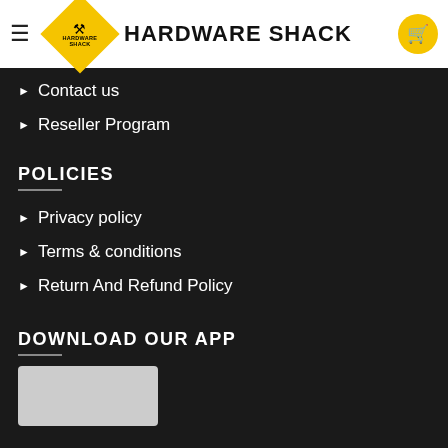Hardware Shack
Contact us
Reseller Program
POLICIES
Privacy policy
Terms & conditions
Return And Refund Policy
DOWNLOAD OUR APP
[Figure (screenshot): App download image/badge placeholder]